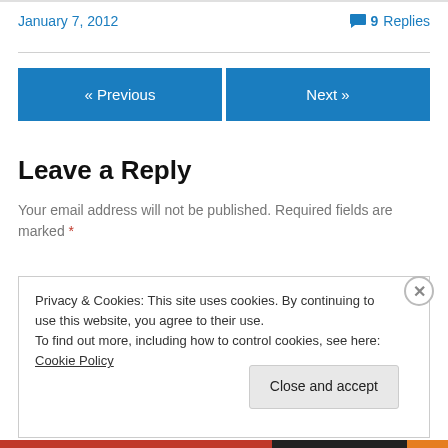January 7, 2012
9 Replies
« Previous
Next »
Leave a Reply
Your email address will not be published. Required fields are marked *
Privacy & Cookies: This site uses cookies. By continuing to use this website, you agree to their use.
To find out more, including how to control cookies, see here: Cookie Policy
Close and accept